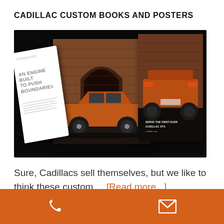CADILLAC CUSTOM BOOKS AND POSTERS
[Figure (photo): Open Cadillac marketing book spread showing white page with bold text 'AN ENGINE BUILT TO PUSH BOUNDARIES' on the left, center spread with an orange Cadillac SUV parked in front of a brick arch building, and right spread showing rear view of the same orange SUV with caption 'SERVE THE FIRST-EVER CADILLAC XT4.' All set against a dark/black background.]
Sure, Cadillacs sell themselves, but we like to think these custom ... [Read more...]
Phone and email contact icons on orange background